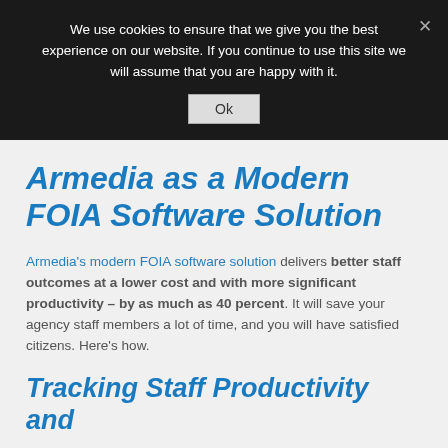We use cookies to ensure that we give you the best experience on our website. If you continue to use this site we will assume that you are happy with it.
Armedia as a Modern FOIA Software Solution
Armedia's modern FOIA software solution delivers better staff outcomes at a lower cost and with more significant productivity – by as much as 40 percent. It will save your agency staff members a lot of time, and you will have satisfied citizens. Here's how.
Tracking Staff Productivity and